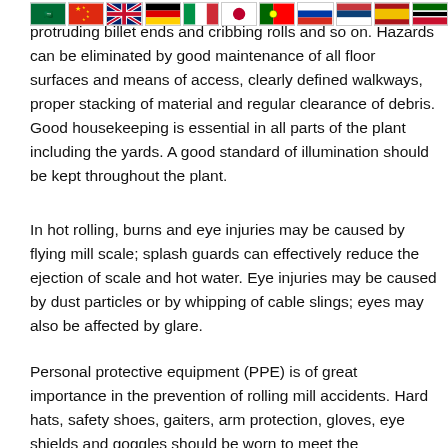[Figure (other): Row of national flags: Saudi Arabia, China, United Kingdom, Germany, Italy, Japan, Portugal, Russia, Serbia, Spain, Kenya]
protruding billet ends and cribbing rolls and so on. Hazards can be eliminated by good maintenance of all floor surfaces and means of access, clearly defined walkways, proper stacking of material and regular clearance of debris. Good housekeeping is essential in all parts of the plant including the yards. A good standard of illumination should be kept throughout the plant.
In hot rolling, burns and eye injuries may be caused by flying mill scale; splash guards can effectively reduce the ejection of scale and hot water. Eye injuries may be caused by dust particles or by whipping of cable slings; eyes may also be affected by glare.
Personal protective equipment (PPE) is of great importance in the prevention of rolling mill accidents. Hard hats, safety shoes, gaiters, arm protection, gloves, eye shields and goggles should be worn to meet the appropriate risk. It is essential to secure the cooperation of employees in the use of